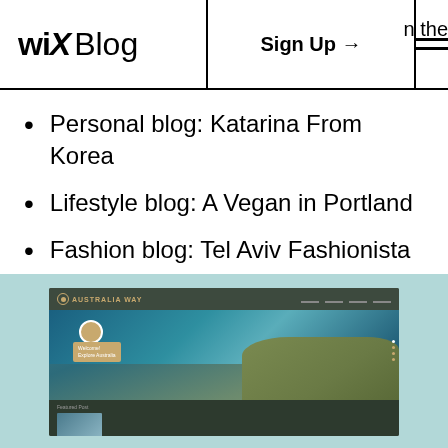WiX Blog | Sign Up → | n the
Personal blog: Katarina From Korea
Lifestyle blog: A Vegan in Portland
Fashion blog: Tel Aviv Fashionista
Food blog: Taste buds of Tokyo
[Figure (screenshot): Screenshot of a travel blog website called 'Australia Way' with a hero image showing ocean waves crashing against rocks, a profile photo, welcome card, and a featured post section at the bottom, displayed on a light teal background.]